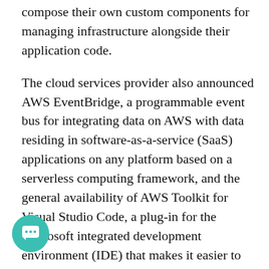compose their own custom components for managing infrastructure alongside their application code.
The cloud services provider also announced AWS EventBridge, a programmable event bus for integrating data on AWS with data residing in software-as-a-service (SaaS) applications on any platform based on a serverless computing framework, and the general availability of AWS Toolkit for Visual Studio Code, a plug-in for the Microsoft integrated development environment (IDE) that makes it easier to build, debug and deploy code on AWS.
Finally, the company announced that Amazon CloudWatch Container Insights is now available in preview. This offering provides access to automated dashboards summarizing the performance and health of their Amazon Elastic Container Service (ECS) and